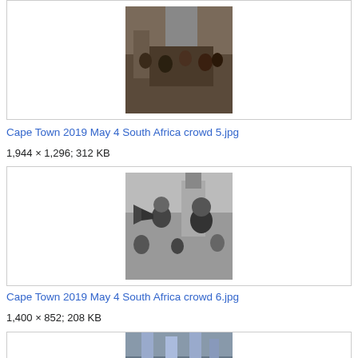[Figure (photo): Color photo of a crowd in Cape Town with a statue/monument visible in background (top, partially cut off)]
Cape Town 2019 May 4 South Africa crowd 5.jpg
1,944 × 1,296; 312 KB
[Figure (photo): Black and white photo of a woman speaking/shouting with a man visible to the right, crowd scene]
Cape Town 2019 May 4 South Africa crowd 6.jpg
1,400 × 852; 208 KB
[Figure (photo): Color photo partially visible at bottom, appears to be a street/crowd scene]